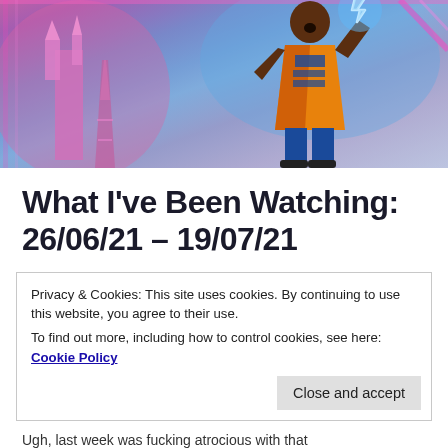[Figure (photo): Movie promotional image showing a basketball player in a colorful 'Tune Squad' jersey holding up a lightning bolt, with a fantasy castle/Eiffel Tower in the background with neon pink and blue colors (Space Jam: A New Legacy)]
What I've Been Watching: 26/06/21 – 19/07/21
Privacy & Cookies: This site uses cookies. By continuing to use this website, you agree to their use.
To find out more, including how to control cookies, see here: Cookie Policy
[Close and accept button]
Ugh, last week was fucking atrocious with that